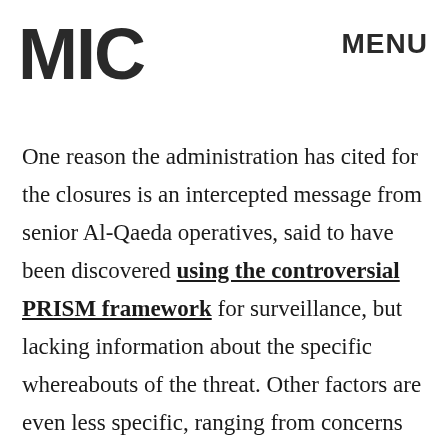MIC
MENU
ADVERTISEMENT
One reason the administration has cited for the closures is an intercepted message from senior Al-Qaeda operatives, said to have been discovered using the controversial PRISM framework for surveillance, but lacking information about the specific whereabouts of the threat. Other factors are even less specific, ranging from concerns over several major prison breaks in the region to concerns that the